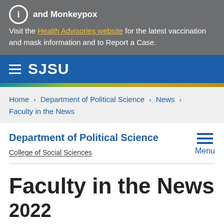and Monkeypox
Visit the Health Advisories website for the latest vaccination and mask information and to Report a Case.
[Figure (logo): SJSU wordmark with hamburger menu icon on blue navigation bar]
Home › Department of Political Science › News › Faculty in the News
Department of Political Science
College of Social Sciences
Faculty in the News
2022